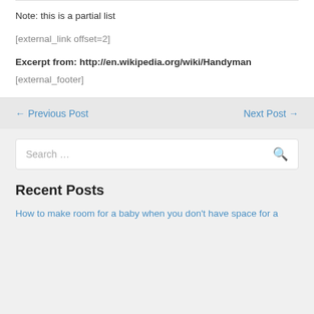Note: this is a partial list
[external_link offset=2]
Excerpt from: http://en.wikipedia.org/wiki/Handyman
[external_footer]
← Previous Post
Next Post →
Search …
Recent Posts
How to make room for a baby when you don't have space for a